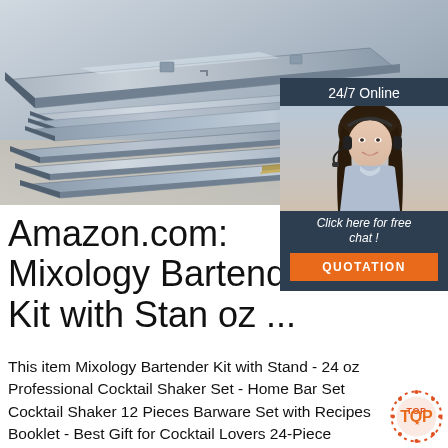[Figure (photo): Stack of metal/steel plates photographed from above at an angle, showing layered flat steel bars with reflective metallic surfaces]
[Figure (infographic): Chat widget overlay on right side: '24/7 Online' header in dark navy, photo of woman with headset (customer service agent), 'Click here for free chat!' text, and orange QUOTATION button]
Amazon.com: Mixology Bartender Kit with Stan oz ...
This item Mixology Bartender Kit with Stand - 24 oz Professional Cocktail Shaker Set - Home Bar Set Cocktail Shaker 12 Pieces Barware Set with Recipes Booklet - Best Gift for Cocktail Lovers 24-Piece Cocktail Shaker Bartender Kit with Stand
[Figure (logo): Red and orange circular TOP badge/logo in bottom right corner]